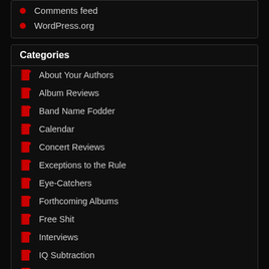Comments feed
WordPress.org
Categories
About Your Authors
Album Reviews
Band Name Fodder
Calendar
Concert Reviews
Exceptions to the Rule
Eye-Catchers
Forthcoming Albums
Free Shit
Interviews
IQ Subtraction
Listmania
LISTMANIA 2012
LISTMANIA 2013
LISTMANIA 2014
LISTMANIA 2015